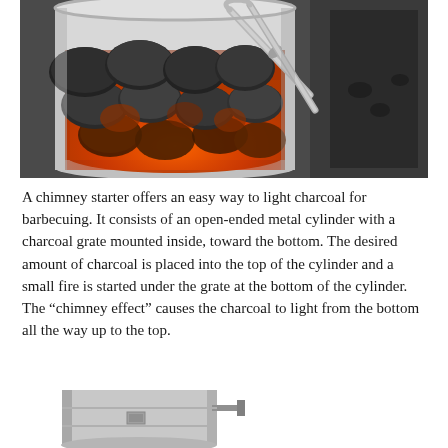[Figure (photo): A chimney starter filled with glowing charcoal briquettes, showing orange-red embers beneath dark charcoal, with metal tongs resting on the side, placed next to a dark grill.]
A chimney starter offers an easy way to light charcoal for barbecuing. It consists of an open-ended metal cylinder with a charcoal grate mounted inside, toward the bottom. The desired amount of charcoal is placed into the top of the cylinder and a small fire is started under the grate at the bottom of the cylinder. The “chimney effect” causes the charcoal to light from the bottom all the way up to the top.
[Figure (photo): Bottom portion of a chimney starter showing the metal cylinder body with a handle visible, silver/metallic appearance.]